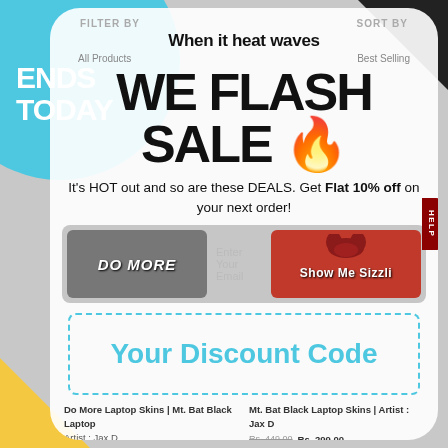[Figure (screenshot): E-commerce website screenshot showing a flash sale popup overlay with product listings visible in the background. Teal circle in top-left, black triangle top-right, yellow shape bottom-left.]
When it heat waves
FILTER BY  SORT BY
WE FLASH SALE 🔥
ENDS TODAY
All Products  Best Selling
It's HOT out and so are these DEALS. Get Flat 10% off on your next order!
DO MORE
Enter Your Email
Show Me Sizzlin
HELP
Your Discount Code
Do More Laptop Skins | Mt. Bat Black Laptop Skins | Artist : Jax D
Rs. 449.00  Rs. 299.00
Mt. Bat Black Laptop Skins | Artist : Jax D
Rs. 449.00  Rs. 299.00